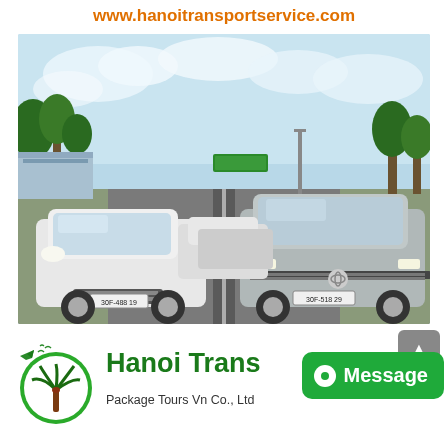www.hanoitransportservice.com
[Figure (photo): A row of white sedans and silver SUVs lined up on a two-lane road at an airport or transport hub, with trees and a building visible in the background under a partly cloudy sky.]
[Figure (logo): Hanoi Transport Service logo: a green circle with a red palm tree and flying birds, with airplane silhouette at top left.]
Hanoi Trans
Package Tours Vn Co., Ltd
Message